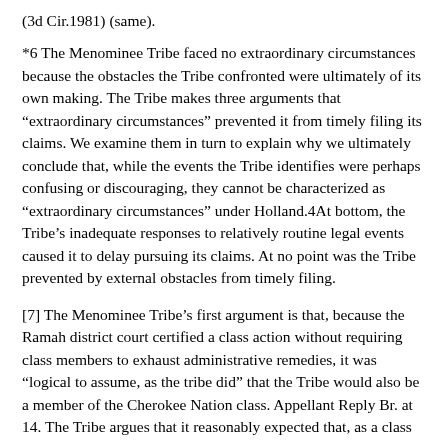(3d Cir.1981) (same).
*6 The Menominee Tribe faced no extraordinary circumstances because the obstacles the Tribe confronted were ultimately of its own making. The Tribe makes three arguments that “extraordinary circumstances” prevented it from timely filing its claims. We examine them in turn to explain why we ultimately conclude that, while the events the Tribe identifies were perhaps confusing or discouraging, they cannot be characterized as “extraordinary circumstances” under Holland.4At bottom, the Tribe’s inadequate responses to relatively routine legal events caused it to delay pursuing its claims. At no point was the Tribe prevented by external obstacles from timely filing.
[7] The Menominee Tribe’s first argument is that, because the Ramah district court certified a class action without requiring class members to exhaust administrative remedies, it was “logical to assume, as the tribe did” that the Tribe would also be a member of the Cherokee Nation class. Appellant Reply Br. at 14. The Tribe argues that it reasonably expected that, as a class